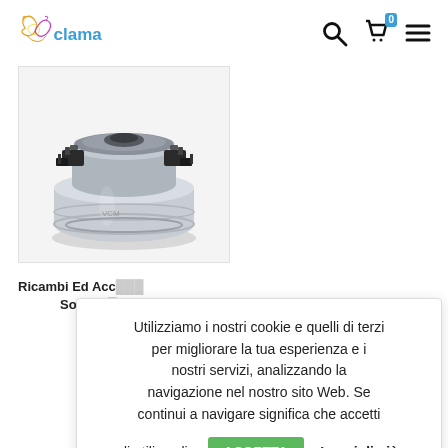clama — header with logo, search, cart (0), menu icons
[Figure (photo): Vacuum cleaner motor/blower unit — silver metallic circular motor with coils and brackets on top]
Ricambi Ed Acc…   Soffiate…
Utilizziamo i nostri cookie e quelli di terzi per migliorare la tua esperienza e i nostri servizi, analizzando la navigazione nel nostro sito Web. Se continui a navigare significa che accetti di utilizzarli.   ACCETTA   Leggi di più